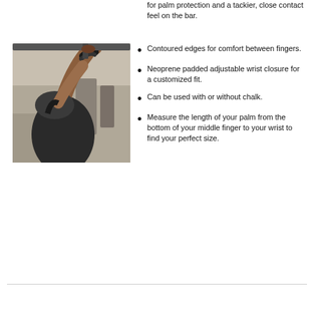[Figure (photo): A muscular person doing pull-ups on a bar in a gym, wearing wrist wraps/grips, shown from behind/side angle]
for palm protection and a tackier, close contact feel on the bar.
Contoured edges for comfort between fingers.
Neoprene padded adjustable wrist closure for a customized fit.
Can be used with or without chalk.
Measure the length of your palm from the bottom of your middle finger to your wrist to find your perfect size.